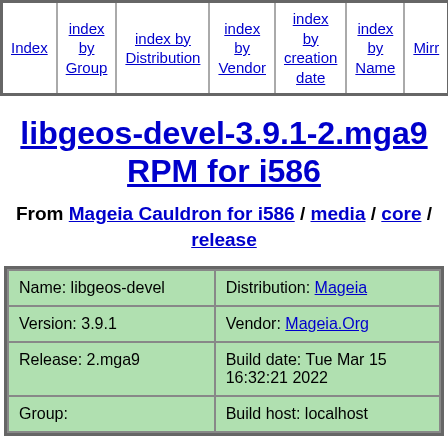| Index | index by Group | index by Distribution | index by Vendor | index by creation date | index by Name | Mirr… |
| --- | --- | --- | --- | --- | --- | --- |
libgeos-devel-3.9.1-2.mga9 RPM for i586
From Mageia Cauldron for i586 / media / core / release
|  |  |
| --- | --- |
| Name: libgeos-devel | Distribution: Mageia |
| Version: 3.9.1 | Vendor: Mageia.Org |
| Release: 2.mga9 | Build date: Tue Mar 15 16:32:21 2022 |
| Group: | Build host: localhost |